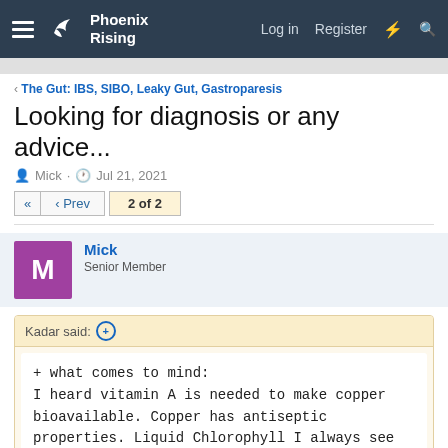Phoenix Rising — Log in  Register
The Gut: IBS, SIBO, Leaky Gut, Gastroparesis
Looking for diagnosis or any advice...
Mick · Jul 21, 2021
◄◄  ◄ Prev  2 of 2
Mick
Senior Member
Kadar said: ⊕
+ what comes to mind:
I heard vitamin A is needed to make copper bioavailable. Copper has antiseptic properties. Liquid Chlorophyll I always see in candida protocols seems to be there because it's rich in copper.